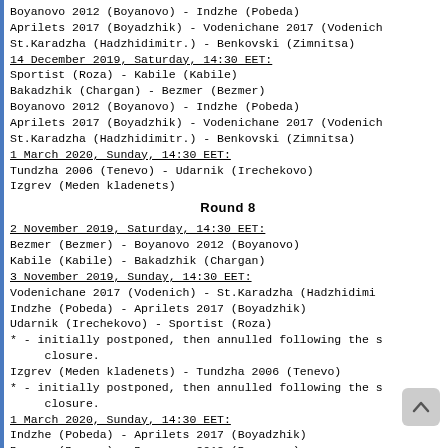Boyanovo 2012 (Boyanovo) - Indzhe (Pobeda)
Aprilets 2017 (Boyadzhik) - Vodenichane 2017 (Vodenich)
St.Karadzha (Hadzhidimitr.) - Benkovski (Zimnitsa)
14 December 2019, Saturday, 14:30 EET:
Sportist (Roza) - Kabile (Kabile)
Bakadzhik (Chargan) - Bezmer (Bezmer)
Boyanovo 2012 (Boyanovo) - Indzhe (Pobeda)
Aprilets 2017 (Boyadzhik) - Vodenichane 2017 (Vodenich)
St.Karadzha (Hadzhidimitr.) - Benkovski (Zimnitsa)
1 March 2020, Sunday, 14:30 EET:
Tundzha 2006 (Tenevo) - Udarnik (Irechekovo)
Izgrev (Meden kladenets)
Round 8
2 November 2019, Saturday, 14:30 EET:
Bezmer (Bezmer) - Boyanovo 2012 (Boyanovo)
Kabile (Kabile) - Bakadzhik (Chargan)
3 November 2019, Sunday, 14:30 EET:
Vodenichane 2017 (Vodenich) - St.Karadzha (Hadzhidimi)
Indzhe (Pobeda) - Aprilets 2017 (Boyadzhik)
Udarnik (Irechekovo) - Sportist (Roza)
* - initially postponed, then annulled following the s
     closure.
Izgrev (Meden kladenets) - Tundzha 2006 (Tenevo)
* - initially postponed, then annulled following the s
     closure.
1 March 2020, Sunday, 14:30 EET:
Indzhe (Pobeda) - Aprilets 2017 (Boyadzhik)
Bezmer (Bezmer) - Boyanovo 2012 (Boyanovo)
Kabile (Kabile) - Bakadzhik (Chargan)